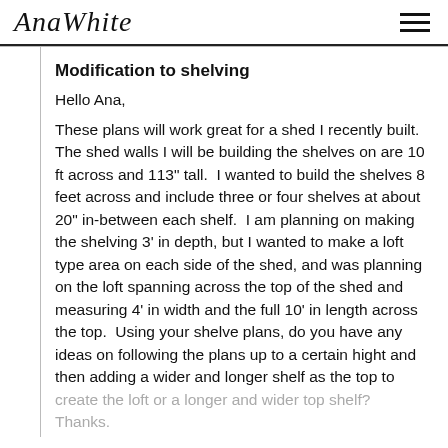AnaWhite
Modification to shelving
Hello Ana,
These plans will work great for a shed I recently built.  The shed walls I will be building the shelves on are 10 ft across and 113" tall.  I wanted to build the shelves 8 feet across and include three or four shelves at about 20" in-between each shelf.  I am planning on making the shelving 3' in depth, but I wanted to make a loft type area on each side of the shed, and was planning on the loft spanning across the top of the shed and measuring 4' in width and the full 10' in length across the top.  Using your shelve plans, do you have any ideas on following the plans up to a certain hight and then adding a wider and longer shelf as the top to create the loft or a longer and wider top shelf?  Thanks.